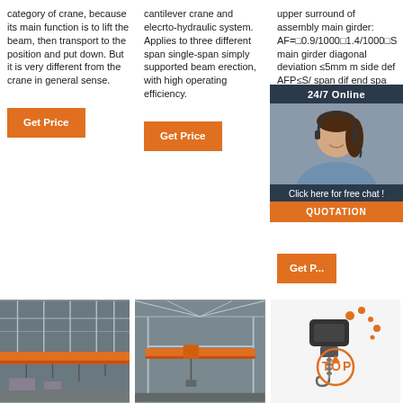category of crane, because its main function is to lift the beam, then transport to the position and put down. But it is very different from the crane in general sense.
cantilever crane and elecrto-hydraulic system. Applies to three different span single-span simply supported beam erection, with high operating efficiency.
upper surround of assembly main girder: AF=□0.9/1000□1.4/1000□S main girder diagonal deviation ≤5mm main side def AFP≤S/ span dif end spa middle s height .
[Figure (photo): Industrial overhead crane inside a large warehouse/factory building, showing the crane bridge spanning across the structure.]
[Figure (photo): Single-girder overhead crane with orange beam inside an industrial building.]
[Figure (illustration): TOP symbol with electric hoist/chain block illustration and orange decorative dots.]